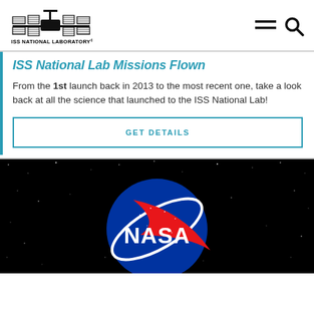[Figure (logo): ISS National Laboratory logo showing space station silhouette]
ISS NATIONAL LABORATORY®
ISS National Lab Missions Flown
From the 1st launch back in 2013 to the most recent one, take a look back at all the science that launched to the ISS National Lab!
GET DETAILS
[Figure (photo): NASA meatball logo on black starry space background]